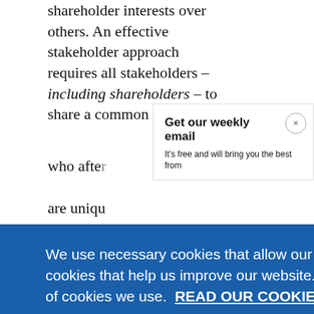shareholder interests over others. An effective stakeholder approach requires all stakeholders – including shareholders – to share a common purpose.
who after
are uniqu
[Figure (screenshot): Get our weekly email modal overlay with title 'Get our weekly email', subtitle 'It's free and will bring you the best from', and a close (x) button]
We use necessary cookies that allow our site to work. We also set optional cookies that help us improve our website. For more information about the types of cookies we use. READ OUR COOKIES POLICY HERE
COOKIE SETTINGS
ALLOW ALL COOKIES
data.
increasin